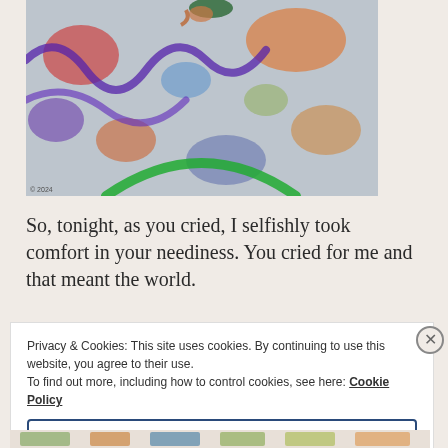[Figure (photo): A photograph showing a doll or figurine lying on a colorful patterned rug with purple curves, green arcs, red, orange, and blue motifs on a gray/blue background.]
So, tonight, as you cried, I selfishly took comfort in your neediness. You cried for me and that meant the world.
Privacy & Cookies: This site uses cookies. By continuing to use this website, you agree to their use.
To find out more, including how to control cookies, see here: Cookie Policy
Close and accept